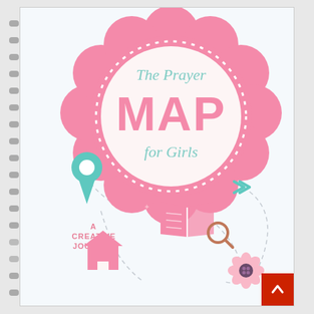[Figure (illustration): Book cover of 'The Prayer MAP for Girls - A Creative Journal'. Shows a spiral-bound journal with a large pink flower/cloud shape containing the title text in pink and teal. Below the flower are decorative elements: a teal map location pin, a pink house icon, a pink book/map with magnifying glass icon, a pink flower decoration, small asterisk shapes, a teal chevron, and dashed path lines connecting the decorative icons. The background is white/light.]